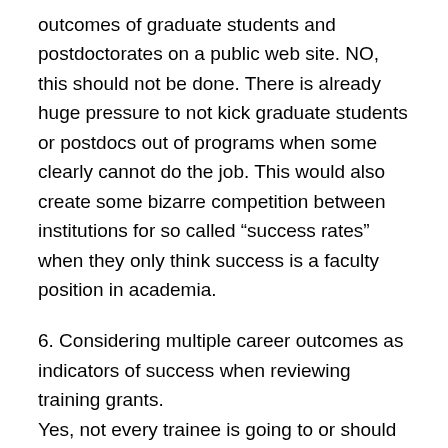outcomes of graduate students and postdoctorates on a public web site. NO, this should not be done. There is already huge pressure to not kick graduate students or postdocs out of programs when some clearly cannot do the job. This would also create some bizarre competition between institutions for so called “success rates” when they only think success is a faculty position in academia.
6. Considering multiple career outcomes as indicators of success when reviewing training grants.
Yes, not every trainee is going to or should be a faculty member. This is not a good measure of success of a program.